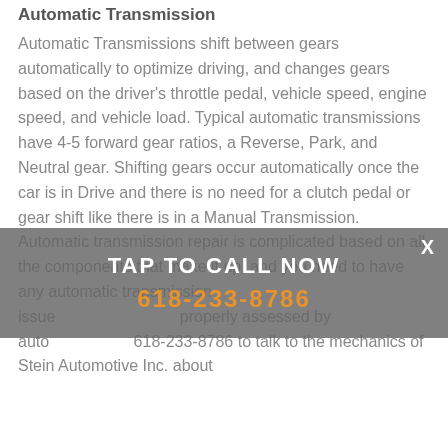Automatic Transmission
Automatic Transmissions shift between gears automatically to optimize driving, and changes gears based on the driver's throttle pedal, vehicle speed, engine speed, and vehicle load. Typical automatic transmissions have 4-5 forward gear ratios, a Reverse, Park, and Neutral gear. Shifting gears occur automatically once the car is in Drive and there is no need for a clutch pedal or gear shift like there is in a Manual Transmission. Automatic transmission repair is complicated based on all the components that make it up, and you need to have any automatic transmission issue assessed properly assessed by auto… call 618-233-8786 to talk to the mechanics of Stein Automotive Inc. about
[Figure (infographic): Grey overlay banner with white text 'TAP TO CALL NOW', orange phone number '618-233-8786', and white X close button in top right corner]